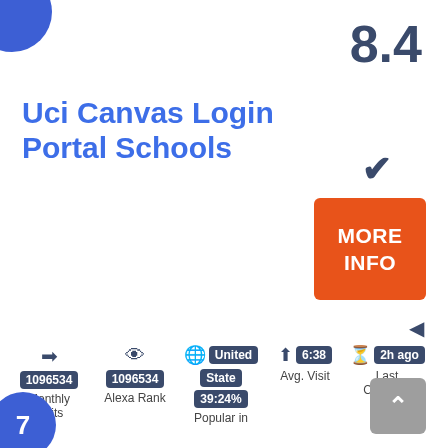8.4
Uci Canvas Login Portal Schools
MORE INFO
1096534
Monthly Visits
1096534
Alexa Rank
United State
39:24%
Popular in
6:38
Avg. Visit
2h ago
Last Checked
7